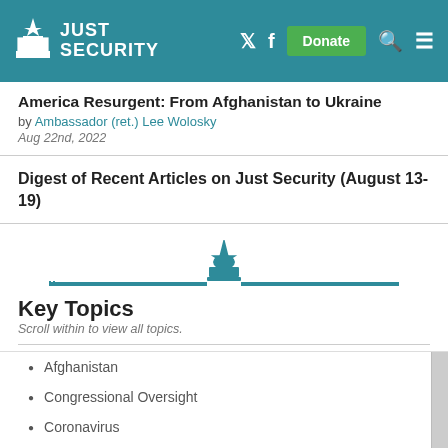Just Security
America Resurgent: From Afghanistan to Ukraine
by Ambassador (ret.) Lee Wolosky
Aug 22nd, 2022
Digest of Recent Articles on Just Security (August 13-19)
[Figure (logo): Just Security capitol building logo with decorative horizontal line]
Key Topics
Scroll within to view all topics.
Afghanistan
Congressional Oversight
Coronavirus
Counterterrorism